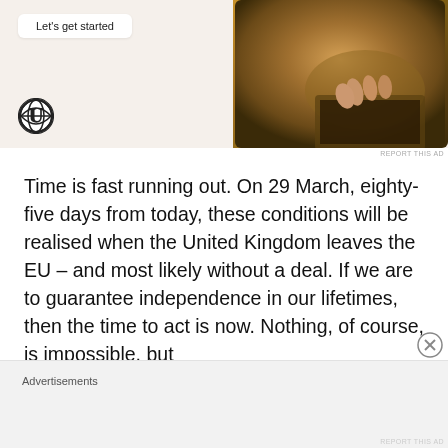[Figure (screenshot): WordPress advertisement banner with 'Let's get started' button, WordPress logo, and a photo of a person using a laptop on the right side. Background is beige/cream colored.]
REPORT THIS AD
Time is fast running out. On 29 March, eighty-five days from today, these conditions will be realised when the United Kingdom leaves the EU – and most likely without a deal. If we are to guarantee independence in our lifetimes, then the time to act is now. Nothing, of course, is impossible, but
Advertisements
REPORT THIS AD